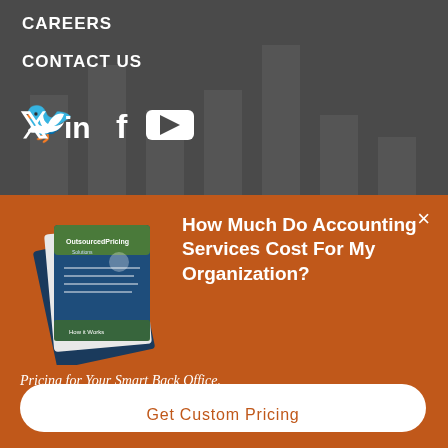CAREERS
CONTACT US
[Figure (illustration): Social media icons: Twitter bird, LinkedIn 'in', Facebook 'f', YouTube play button triangle — all white on dark gray background]
[Figure (bar-chart): Decorative background bar chart with gray bars of varying heights on dark gray background]
[Figure (illustration): Stacked brochure/document pages showing accounting pricing guide with green and navy blue covers]
How Much Do Accounting Services Cost For My Organization?
Pricing for Your Smart Back Office.
Get Custom Pricing